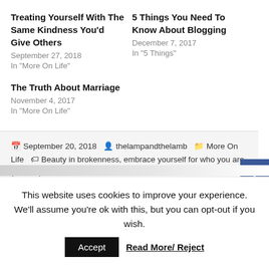Treating Yourself With The Same Kindness You'd Give Others
September 27, 2018
In "More On Life"
5 Things You Need To Know About Blogging
December 7, 2017
In "5 Things"
The Truth About Marriage
November 4, 2017
In "More On Life"
September 20, 2018  thelampandthelamb  More On Life  Beauty in brokenness, embrace yourself for who you are, you've got this
This website uses cookies to improve your experience. We'll assume you're ok with this, but you can opt-out if you wish.  Accept  Read More/ Reject